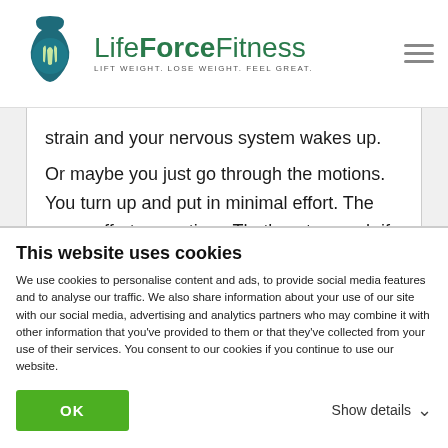LifeForceFitness — LIFT WEIGHT. LOSE WEIGHT. FEEL GREAT.
strain and your nervous system wakes up.
Or maybe you just go through the motions. You turn up and put in minimal effort. The same effort every time. That's not enough if you want to make progre…
[Figure (infographic): Green CTA banner with phone icon: GET STARTED 01604 289190]
You have to dig deep. You have to work through the discomfort, you have to try hard and you have to…
This website uses cookies
We use cookies to personalise content and ads, to provide social media features and to analyse our traffic. We also share information about your use of our site with our social media, advertising and analytics partners who may combine it with other information that you've provided to them or that they've collected from your use of their services. You consent to our cookies if you continue to use our website.
OK   Show details